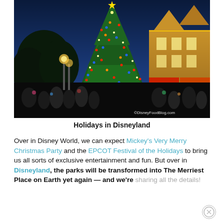[Figure (photo): Nighttime photo of a massive lit Christmas tree in front of a Victorian-style building at Disneyland. Crowds of visitors gather below. The tree is decorated with colorful lights. A watermark reads ©DisneyFoodBlog.com in the bottom right corner.]
Holidays in Disneyland
Over in Disney World, we can expect Mickey's Very Merry Christmas Party and the EPCOT Festival of the Holidays to bring us all sorts of exclusive entertainment and fun. But over in Disneyland, the parks will be transformed into The Merriest Place on Earth yet again — and we're sharing all the details!